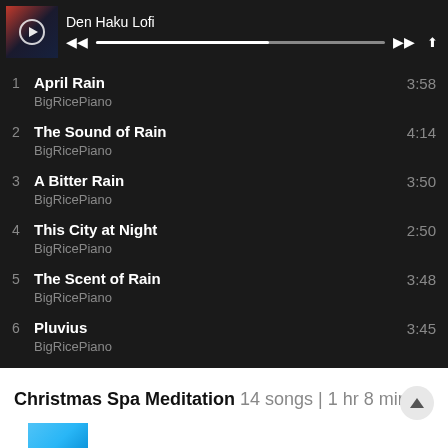[Figure (screenshot): Music player now-playing bar showing Den Haku Lofi with album art, play controls, and progress bar]
1  April Rain  BigRicePiano  3:58
2  The Sound of Rain  BigRicePiano  4:14
3  A Bitter Rain  BigRicePiano  3:50
4  This City at Night  BigRicePiano  2:50
5  The Scent of Rain  BigRicePiano  3:48
6  Pluvius  BigRicePiano  3:45
Christmas Spa Meditation 14 songs | 1 hr 8 min